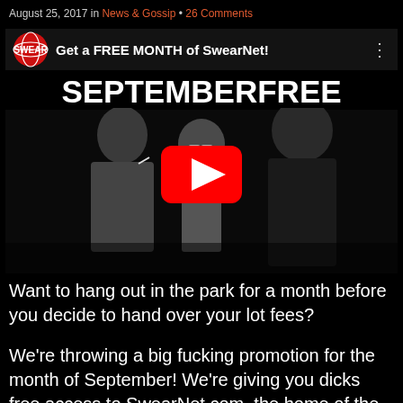August 25, 2017 in News & Gossip • 26 Comments
[Figure (screenshot): YouTube-style video thumbnail for SwearNet showing 'Get a FREE MONTH of SwearNet!' with the code SEPTEMBERFREE and three men standing against a black background. A red YouTube play button overlays the center.]
Want to hang out in the park for a month before you decide to hand over your lot fees?
We're throwing a big fucking promotion for the month of September!  We're giving you dicks free access to SwearNet.com, the home of the Trailer